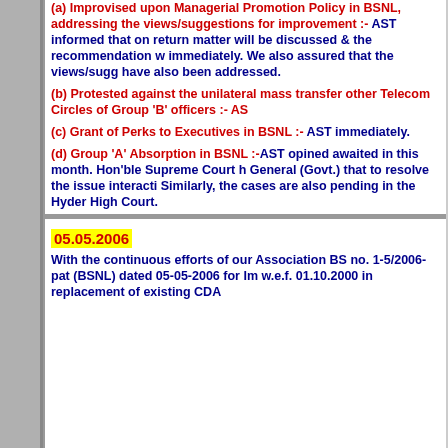(a) Improvised upon Managerial Promotion Policy in BSNL, addressing the views/suggestions for improvement :- AST informed that on return matter will be discussed & the recommendation will be immediately. We also assured that the views/suggestions have also been addressed.
(b) Protested against the unilateral mass transfer to other Telecom Circles of Group 'B' officers :- AS
(c) Grant of Perks to Executives in BSNL :- AST immediately.
(d) Group 'A' Absorption in BSNL :-AST opined awaited in this month. Hon'ble Supreme Court h General (Govt.) that to resolve the issue interacti Similarly, the cases are also pending in the Hyder High Court.
05.05.2006
With the continuous efforts of our Association BS no. 1-5/2006-pat (BSNL) dated 05-05-2006 for Im w.e.f. 01.10.2000 in replacement of existing CDA